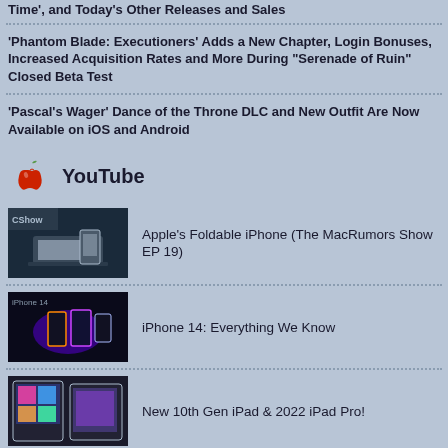'Phantom Blade: Executioners' Adds a New Chapter, Login Bonuses, Increased Acquisition Rates and More During "Serenade of Ruin" Closed Beta Test
'Pascal's Wager' Dance of the Throne DLC and New Outfit Are Now Available on iOS and Android
YouTube
Apple's Foldable iPhone (The MacRumors Show EP 19)
iPhone 14: Everything We Know
New 10th Gen iPad & 2022 iPad Pro!